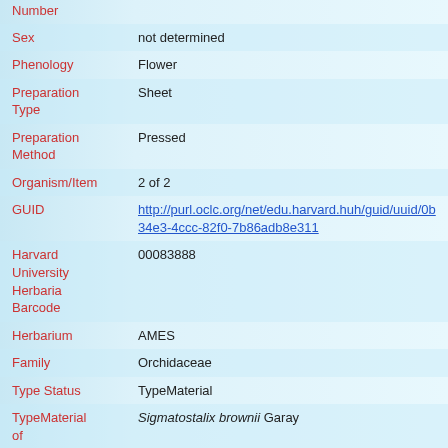| Field | Value |
| --- | --- |
| Number |  |
| Sex | not determined |
| Phenology | Flower |
| Preparation Type | Sheet |
| Preparation Method | Pressed |
| Organism/Item | 2 of 2 |
| GUID | http://purl.oclc.org/net/edu.harvard.huh/guid/uuid/0b34e3-4ccc-82f0-7b86adb8e311 |
| Harvard University Herbaria Barcode | 00083888 |
| Herbarium | AMES |
| Family | Orchidaceae |
| Type Status | TypeMaterial |
| TypeMaterial of | Sigmatostalix brownii Garay |
| Verified by | Romero, Gustavo Adolfo & Ferreras, Irina |
| Date Determined | 2012-11-08 |
| Determination | Flower from holotype at AMES [is a fragment] [is file |